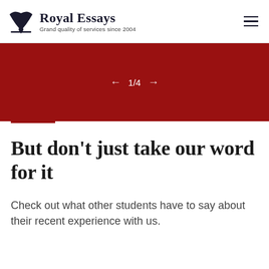Royal Essays — Grand quality of services since 2004
[Figure (other): Red banner with pagination indicator showing 1/4 with left and right arrows]
But don't just take our word for it
Check out what other students have to say about their recent experience with us.